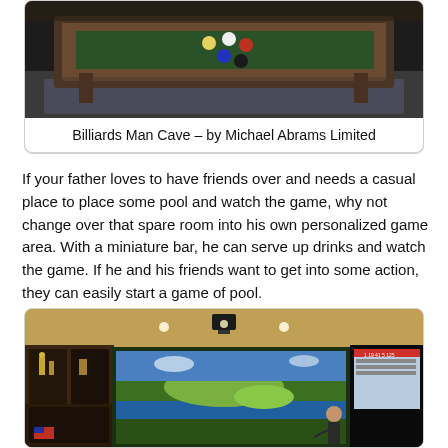[Figure (photo): Overhead view of a billiards/pool table in a man cave setting, dark wood table with billiard balls visible]
Billiards Man Cave – by Michael Abrams Limited
If your father loves to have friends over and needs a casual place to place some pool and watch the game, why not change over that spare room into his own personalized game area. With a miniature bar, he can serve up drinks and watch the game. If he and his friends want to get into some action, they can easily start a game of pool.
[Figure (photo): Indoor golf simulator room with large projection screens showing a golf course, wooden cabinets on the left, projector on ceiling, person swinging golf club]